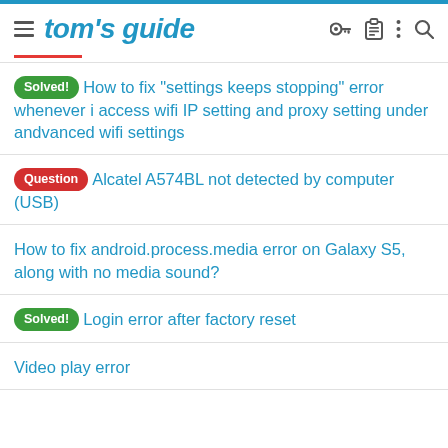tom's guide
Solved! How to fix "settings keeps stopping" error whenever i access wifi IP setting and proxy setting under andvanced wifi settings
Question Alcatel A574BL not detected by computer (USB)
How to fix android.process.media error on Galaxy S5, along with no media sound?
Solved! Login error after factory reset
Video play error